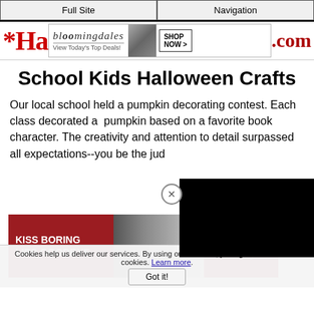Full Site | Navigation
[Figure (advertisement): Bloomingdales banner ad: View Today's Top Deals! with model in hat and SHOP NOW button]
School Kids Halloween Crafts
Our local school held a pumpkin decorating contest.  Each class decorated a  pumpkin based on a favorite book character.  The creativity and attention to detail surpassed all expectations--you be the judge
[Figure (advertisement): Macy's ad: KISS BORING LIPS GOODBYE with model with red lips and SHOP NOW button]
[Figure (other): Black overlay box covering part of the page content]
Cookies help us deliver our services. By using our services, you agree to our use of cookies. Learn more.
Got it!